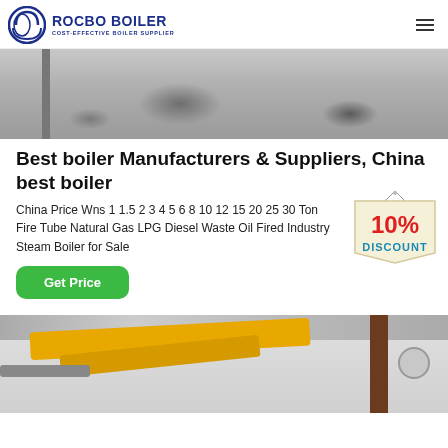ROCBO BOILER — COST-EFFECTIVE BOILER SUPPLIER
[Figure (photo): Close-up of a boiler surface showing water stains or corrosion marks on a metal plate, with a vertical pipe on the left side.]
Best boiler Manufacturers & Suppliers, China best boiler
China Price Wns 1 1.5 2 3 4 5 6 8 10 12 15 20 25 30 Ton Fire Tube Natural Gas LPG Diesel Waste Oil Fired Industry Steam Boiler for Sale
[Figure (illustration): 10% DISCOUNT badge — a hanging sign with red 10% text and blue DISCOUNT text on a cream/tan pennant background.]
Get Price
[Figure (photo): Industrial interior showing yellow overhead pipes, structural beams, ceiling equipment, and a circular vent on the right side.]